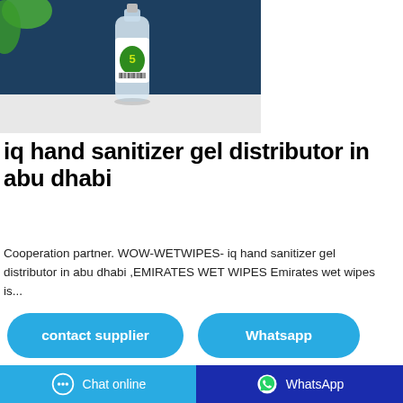[Figure (photo): A hand sanitizer gel bottle with a green label on a white surface against a dark blue background]
iq hand sanitizer gel distributor in abu dhabi
Cooperation partner. WOW-WETWIPES- iq hand sanitizer gel distributor in abu dhabi ,EMIRATES WET WIPES Emirates wet wipes is...
contact supplier | Whatsapp | Chat online | WhatsApp